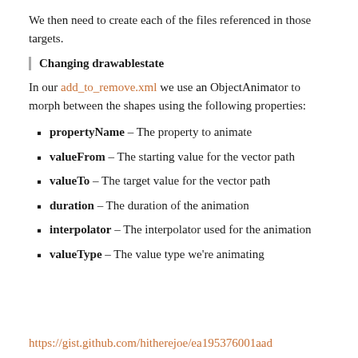We then need to create each of the files referenced in those targets.
Changing drawablestate
In our add_to_remove.xml we use an ObjectAnimator to morph between the shapes using the following properties:
propertyName – The property to animate
valueFrom – The starting value for the vector path
valueTo – The target value for the vector path
duration – The duration of the animation
interpolator – The interpolator used for the animation
valueType – The value type we're animating
https://gist.github.com/hitherejoe/ea195376001aad